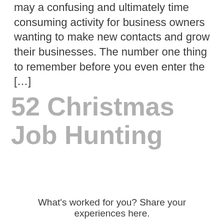may a confusing and ultimately time consuming activity for business owners wanting to make new contacts and grow their businesses. The number one thing to remember before you even enter the […]
52 Christmas Job Hunting
What's worked for you? Share your experiences here.